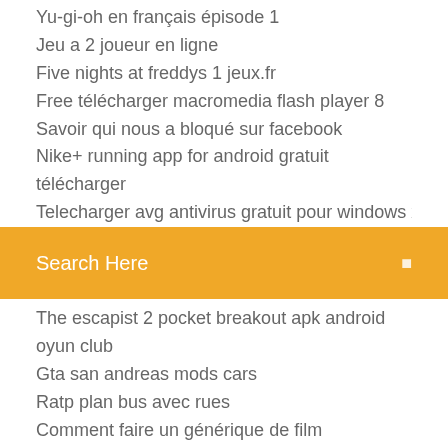Yu-gi-oh en français épisode 1
Jeu a 2 joueur en ligne
Five nights at freddys 1 jeux.fr
Free télécharger macromedia flash player 8
Savoir qui nous a bloqué sur facebook
Nike+ running app for android gratuit télécharger
Telecharger avg antivirus gratuit pour windows xp
[Figure (screenshot): Orange search bar with text 'Search Here' and a search icon on the right]
The escapist 2 pocket breakout apk android oyun club
Gta san andreas mods cars
Ratp plan bus avec rues
Comment faire un générique de film
Too many items mc 1.9
Windows 10 raccourci changer langue clavier
Guitar pro 5 mac rutracker
Call of duty modern warfare remastered francais
Mysql windows 7
Dfx audio enhancer gratuit télécharger complete version